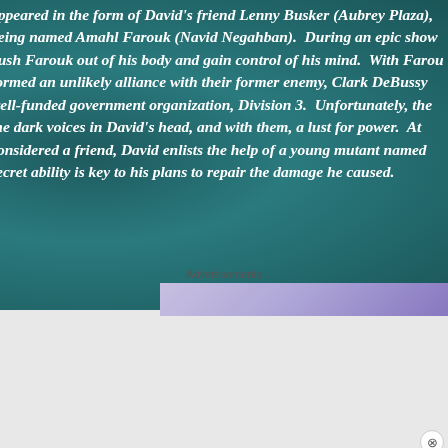appeared in the form of David's friend Lenny Busker (Aubrey Plaza), being named Amahl Farouk (Navid Negahban). During an epic show push Farouk out of his body and gain control of his mind. With Farouk formed an unlikely alliance with their former enemy, Clark DeBussy well-funded government organization, Division 3. Unfortunately, the dark voices in David's head, and with them, a lust for power. At considered a friend, David enlists the help of a young mutant named secret ability is key to his plans to repair the damage he caused.
Advertisements
[Figure (screenshot): Squarespace advertisement with purple gradient background, text 'Simplified pricing for everything you need.' and a pink 'Build Your Website' button]
Advertisement
[Figure (screenshot): DuckDuckGo advertisement with orange/red background, smartphone image, text 'Search, browse, and email with more privacy. All in One Free App']